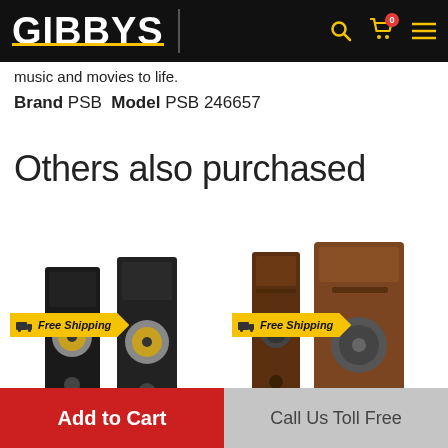GIBBYS
music and movies to life.
Brand PSB  Model PSB 246657
Others also purchased
[Figure (photo): Two black floor-standing speakers with gold woofers, Free Shipping badge overlay]
[Figure (photo): Two dark wood floor-standing speakers, Free Shipping badge overlay]
Add to Cart
Call Us Toll Free